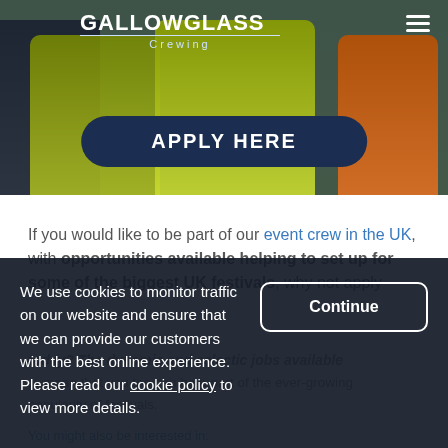[Figure (photo): Hero image of Gallowglass Crewing workers wearing yellow and orange high-visibility vests from behind, with 'APPLY HERE' button overlay and company logo]
If you would like to be part of our event crew in the UK, with opportunities available helping to set up for some of the biggest UK festivals, why not apply today? The dynamic and eclectic jobs available... mean that you too can be a part of the ever-growing popularity of festivals.
We use cookies to monitor traffic on our website and ensure that we can provide our customers with the best online experience. Please read our cookie policy to view more details.
You might also be interested in:
Exploring the History of UK Music Festivals